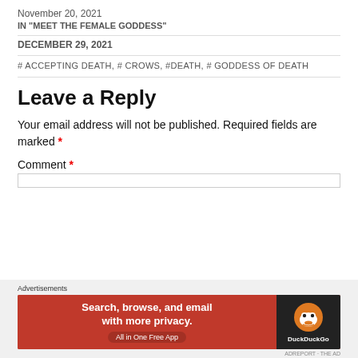November 20, 2021
IN "MEET THE FEMALE GODDESS"
DECEMBER 29, 2021
# ACCEPTING DEATH, # CROWS, #DEATH, # GODDESS OF DEATH
Leave a Reply
Your email address will not be published. Required fields are marked *
Comment *
[Figure (other): DuckDuckGo advertisement banner: orange background with text 'Search, browse, and email with more privacy. All in One Free App', dark section with DuckDuckGo logo and duck icon]